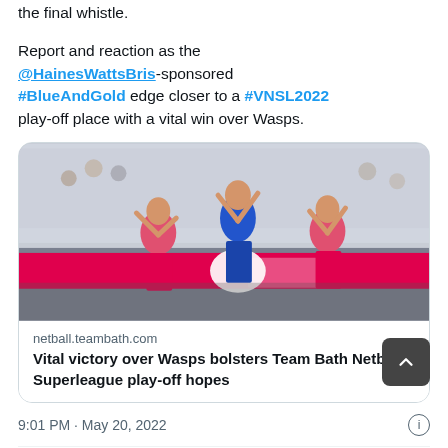the final whistle.
Report and reaction as the @HainesWattsBris-sponsored #BlueAndGold edge closer to a #VNSL2022 play-off place with a vital win over Wasps.
[Figure (photo): Netball match photo showing players in pink and blue uniforms jumping, with crowd in background and pink advertising boards]
netball.teambath.com
Vital victory over Wasps bolsters Team Bath Netball's Superleague play-off hopes
9:01 PM · May 20, 2022
5   Reply   Copy link
Explore what's happening on Twitter